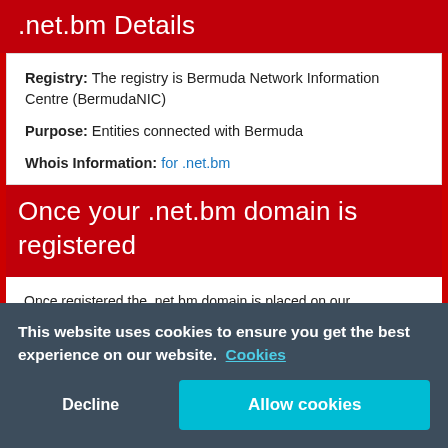.net.bm Details
Registry: The registry is Bermuda Network Information Centre (BermudaNIC)
Purpose: Entities connected with Bermuda
Whois Information: for .net.bm
Once your .net.bm domain is registered
Once registered the .net.bm domain is placed on our international server, provinding an under-construction page for your .net.bm domain, for as long as required. (This enables a browser of your .net.bm domain to readily identify that it is registered).
We can also supply free of charge
E-mail redirection
Web redirection
Whois Privacy
This website uses cookies to ensure you get the best experience on our website. Cookies